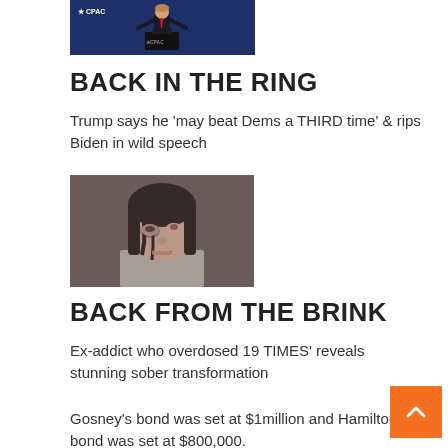[Figure (photo): Man in suit with red tie speaking at CPAC podium with arms outstretched, blue background]
BACK IN THE RING
Trump says he 'may beat Dems a THIRD time' & rips Biden in wild speech
[Figure (photo): Young woman with dark hair and bruised eye, mugshot-style photo]
BACK FROM THE BRINK
Ex-addict who overdosed 19 TIMES' reveals stunning sober transformation
Gosney's bond was set at $1million and Hamilton's bond was set at $800,000.